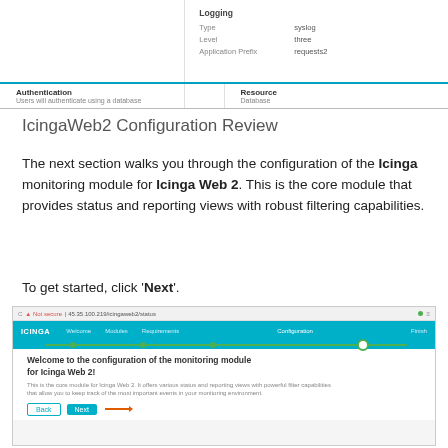[Figure (screenshot): Screenshot of IcingaWeb2 configuration review UI showing Logging section with Type: syslog, Level: three, Application Prefix: requests2, and Authentication/Resource panels at bottom]
IcingaWeb2 Configuration Review
The next section walks you through the configuration of the Icinga monitoring module for Icinga Web 2. This is the core module that provides status and reporting views with robust filtering capabilities.
To get started, click 'Next'.
[Figure (screenshot): Browser screenshot showing Icinga Web 2 setup wizard with navigation bar (Welcome, Modules, Requirements, Configuration, Finish), progress bar, welcome message for monitoring module configuration, and Back/Next buttons with orange arrow pointing to Next]